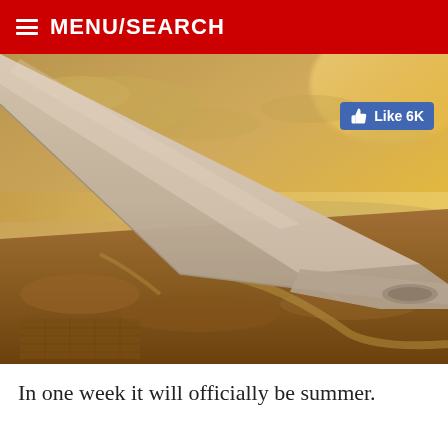MENU/SEARCH
[Figure (photo): Aerial view from airplane window showing the wing against a warm golden sunset sky, with a vast landscape of land, water, and coastline below. A Facebook Like button overlay shows 'Like 6K'.]
In one week it will officially be summer.